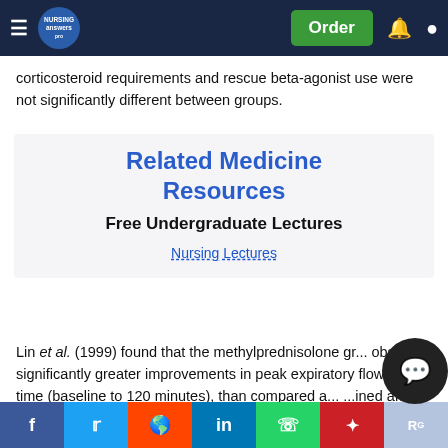Navigation bar with menu, NursingAnswers logo, Order button, notification and account icons
corticosteroid requirements and rescue beta-agonist use were not significantly different between groups.
Related Medicine Resources
Free Undergraduate Lectures
Nursing Lectures
Lin et al. (1999) found that the methylprednisolone gr... observed significantly greater improvements in peak expiratory flow over time (baseline to 120 minutes), than compared a... ...ined after altering the dependent variable to percent predicted peak